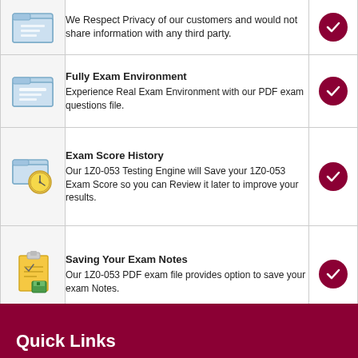| Icon | Feature | Available |
| --- | --- | --- |
| [folder icon] | We Respect Privacy of our customers and would not share information with any third party. | ✓ |
| [folder icon] | Fully Exam Environment
Experience Real Exam Environment with our PDF exam questions file. | ✓ |
| [clock folder icon] | Exam Score History
Our 1Z0-053 Testing Engine will Save your 1Z0-053 Exam Score so you can Review it later to improve your results. | ✓ |
| [notes icon] | Saving Your Exam Notes
Our 1Z0-053 PDF exam file provides option to save your exam Notes. | ✓ |
Quick Links